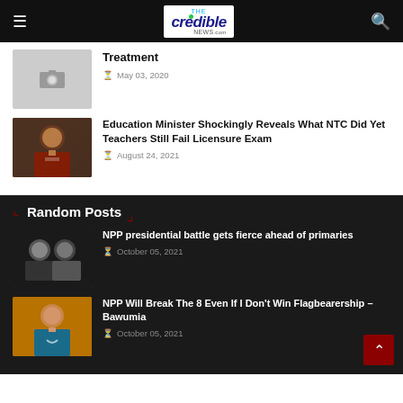The Credible News
Treatment
May 03, 2020
[Figure (photo): Man in suit - education minister thumbnail]
Education Minister Shockingly Reveals What NTC Did Yet Teachers Still Fail Licensure Exam
August 24, 2021
Random Posts
[Figure (photo): Two men in suits - NPP presidential candidates thumbnail]
NPP presidential battle gets fierce ahead of primaries
October 05, 2021
[Figure (photo): Man smiling in blue shirt - Bawumia thumbnail]
NPP Will Break The 8 Even If I Don't Win Flagbearership – Bawumia
October 05, 2021